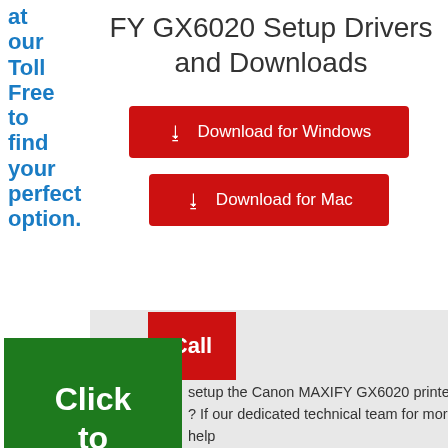at our Toll Free to find your perfect option.
FY GX6020 Setup Drivers and Downloads
[Figure (other): Red button: Download for Windows with download icon]
[Figure (other): Red button: Download for Mac with download icon]
[Figure (other): Red Call button]
[Figure (other): Green Click to Call button overlay]
setup the Canon MAXIFY GX6020 printer ? If our dedicated technical team for more help